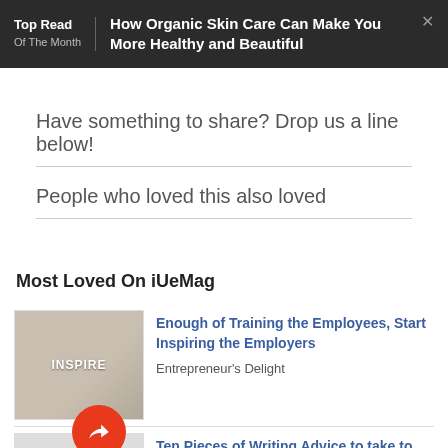Top Read Of The Month — How Organic Skin Care Can Make You More Healthy and Beautiful
Have something to share? Drop us a line below!
People who loved this also loved
Most Loved On iUeMag
Enough of Training the Employees, Start Inspiring the Employers
Entrepreneur's Delight
Ten Pieces of Writing Advice to take to
Inspiration Corner